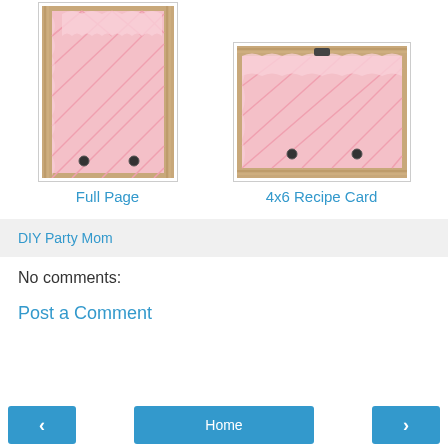[Figure (photo): Pink diamond-pattern decorative card with brown striped border and eyelets, labeled Full Page]
Full Page
[Figure (photo): Pink diamond-pattern decorative recipe card with brown striped border and eyelets, labeled 4x6 Recipe Card]
4x6 Recipe Card
DIY Party Mom
No comments:
Post a Comment